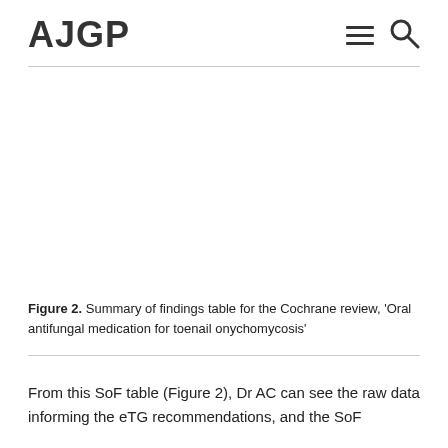AJGP
[Figure (other): Empty white image area representing Figure 2, a summary of findings table for the Cochrane review on oral antifungal medication for toenail onychomycosis]
Figure 2. Summary of findings table for the Cochrane review, 'Oral antifungal medication for toenail onychomycosis'
From this SoF table (Figure 2), Dr AC can see the raw data informing the eTG recommendations, and the SoF